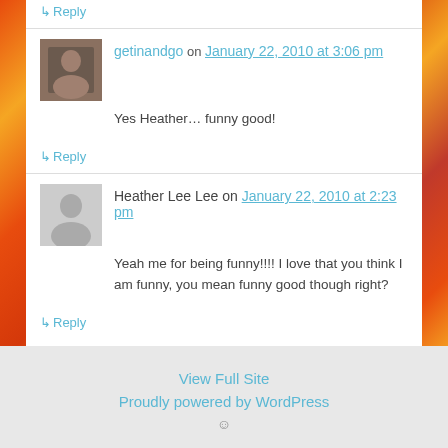↳ Reply
getinandgo on January 22, 2010 at 3:06 pm
Yes Heather… funny good!
↳ Reply
Heather Lee Lee on January 22, 2010 at 2:23 pm
Yeah me for being funny!!!! I love that you think I am funny, you mean funny good though right?
↳ Reply
View Full Site
Proudly powered by WordPress